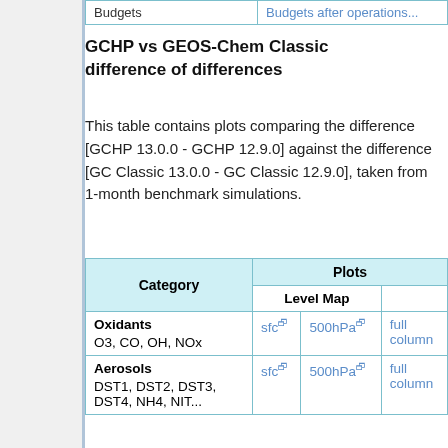| Budgets | Budgets after operations... |
| --- | --- |
| ... | ... |
GCHP vs GEOS-Chem Classic difference of differences
This table contains plots comparing the difference [GCHP 13.0.0 - GCHP 12.9.0] against the difference [GC Classic 13.0.0 - GC Classic 12.9.0], taken from 1-month benchmark simulations.
| Category | Plots |
| --- | --- |
|  | Level Map |  |
| Oxidants
O3, CO, OH, NOx | sfc 🔗 | 500hPa 🔗 | full column |
| Aerosols
DST1, DST2, DST3, DST4, NH4, NIT... | sfc 🔗 | 500hPa 🔗 | full column |